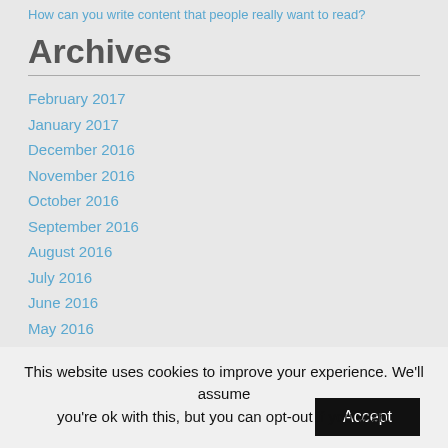How can you write content that people really want to read?
Archives
February 2017
January 2017
December 2016
November 2016
October 2016
September 2016
August 2016
July 2016
June 2016
May 2016
April 2016
March 2016
February 2016
January 2016
This website uses cookies to improve your experience. We'll assume you're ok with this, but you can opt-out if you wish. Accept